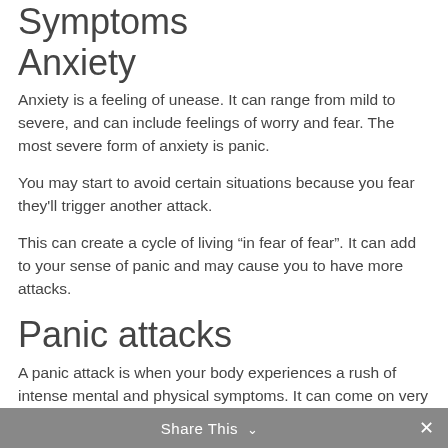Symptoms Anxiety
Anxiety is a feeling of unease. It can range from mild to severe, and can include feelings of worry and fear. The most severe form of anxiety is panic.
You may start to avoid certain situations because you fear they'll trigger another attack.
This can create a cycle of living “in fear of fear”. It can add to your sense of panic and may cause you to have more attacks.
Panic attacks
A panic attack is when your body experiences a rush of intense mental and physical symptoms. It can come on very quickly and for no apparent reason.
A panic attack can be very frightening and distressing.
Symptoms include:
Share This ∨  ×